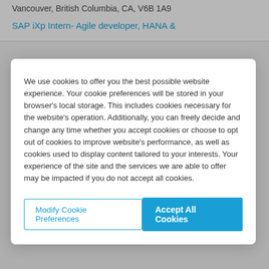Vancouver, British Columbia, CA, V6B 1A9
SAP iXp Intern- Agile developer, HANA &
We use cookies to offer you the best possible website experience. Your cookie preferences will be stored in your browser's local storage. This includes cookies necessary for the website's operation. Additionally, you can freely decide and change any time whether you accept cookies or choose to opt out of cookies to improve website's performance, as well as cookies used to display content tailored to your interests. Your experience of the site and the services we are able to offer may be impacted if you do not accept all cookies.
Modify Cookie Preferences
Accept All Cookies